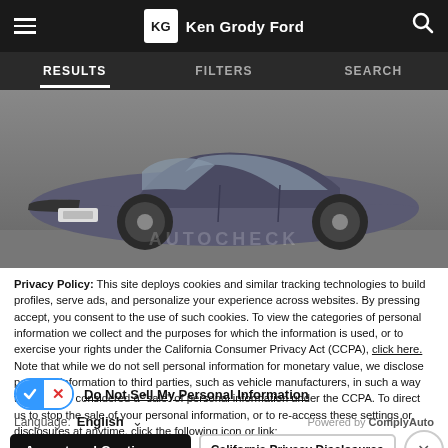Ken Grody Ford
[Figure (screenshot): Navigation tabs showing RESULTS, FILTERS, SEARCH with RESULTS underlined/active]
[Figure (photo): Gray Honda Civic sedan photographed from front-left angle on a gray background]
Privacy Policy: This site deploys cookies and similar tracking technologies to build profiles, serve ads, and personalize your experience across websites. By pressing accept, you consent to the use of such cookies. To view the categories of personal information we collect and the purposes for which the information is used, or to exercise your rights under the California Consumer Privacy Act (CCPA), click here. Note that while we do not sell personal information for monetary value, we disclose personal information to third parties, such as vehicle manufacturers, in such a way that may be considered a "sale" of personal information under the CCPA. To direct us to stop the sale of your personal information, or to re-access these settings or disclosures at anytime, click the following icon or link:
Do Not Sell My Personal Information
Language: English
Powered by ComplyAuto
Accept and Continue → California Privacy Disclosures